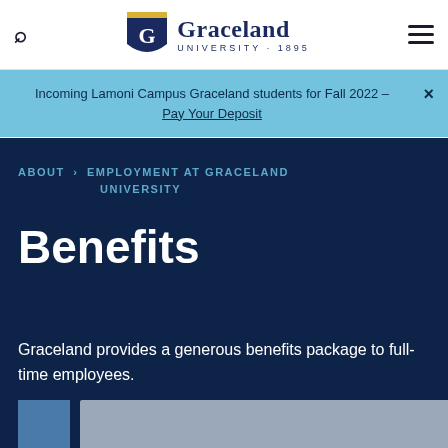Graceland University — navigation bar with search icon, logo, and hamburger menu
Incoming Lamoni Campus Graceland students for Fall 2022 – Pay Your Deposit
ABOUT > EMPLOYMENT AT GRACELAND UNIVERSITY
Benefits
Graceland provides a generous benefits package to full-time employees.
[Figure (photo): Partial photo strip at bottom showing people, partially cropped]